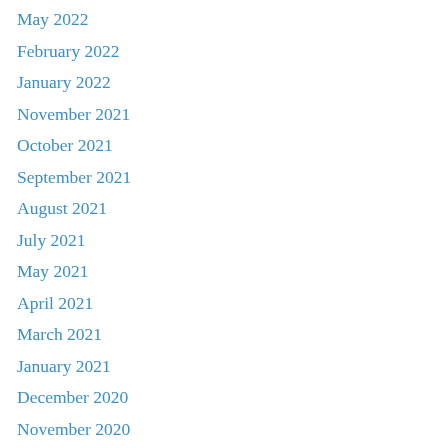May 2022
February 2022
January 2022
November 2021
October 2021
September 2021
August 2021
July 2021
May 2021
April 2021
March 2021
January 2021
December 2020
November 2020
October 2020
September 2020
July 2020
June 2020
May 2020
April 2020